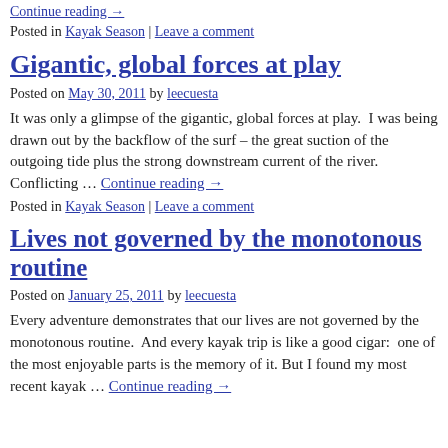Continue reading →
Posted in Kayak Season | Leave a comment
Gigantic, global forces at play
Posted on May 30, 2011 by leecuesta
It was only a glimpse of the gigantic, global forces at play.  I was being drawn out by the backflow of the surf – the great suction of the outgoing tide plus the strong downstream current of the river. Conflicting … Continue reading →
Posted in Kayak Season | Leave a comment
Lives not governed by the monotonous routine
Posted on January 25, 2011 by leecuesta
Every adventure demonstrates that our lives are not governed by the monotonous routine.  And every kayak trip is like a good cigar:  one of the most enjoyable parts is the memory of it. But I found my most recent kayak … Continue reading →